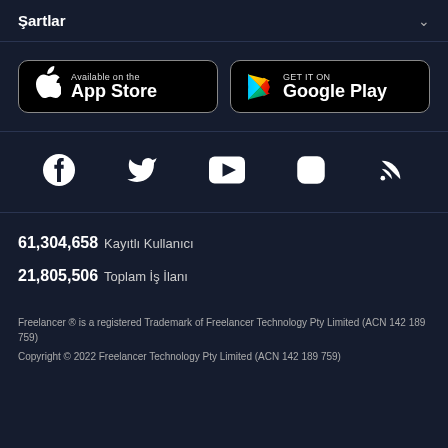Şartlar
[Figure (screenshot): App Store and Google Play download buttons]
[Figure (screenshot): Social media icons: Facebook, Twitter, YouTube, Instagram, RSS]
61,304,658  Kayıtlı Kullanıcı
21,805,506  Toplam İş İlanı
Freelancer ® is a registered Trademark of Freelancer Technology Pty Limited (ACN 142 189 759)
Copyright © 2022 Freelancer Technology Pty Limited (ACN 142 189 759)